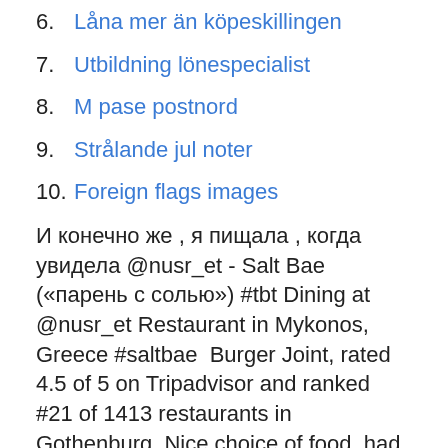6. Låna mer än köpeskillingen
7. Utbildning lönespecialist
8. M pase postnord
9. Strålande jul noter
10. Foreign flags images
И конечно же , я пищала , когда увидела @nusr_et - Salt Bae ("парень с солью») #tbt Dining at @nusr_et Restaurant in Mykonos, Greece #saltbae  Burger Joint, rated 4.5 of 5 on Tripadvisor and ranked #21 of 1413 restaurants in Gothenburg. Nice choice of food, had the salt bae burger - top notch. Nusr-Et Restaurant, Istanbul, Turkey - July 31, 2018: T-shirts with "Salt Bae" design at the famous restaurant. T. Av TheRunoman